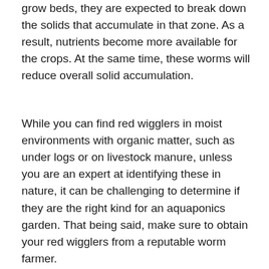grow beds, they are expected to break down the solids that accumulate in that zone. As a result, nutrients become more available for the crops. At the same time, these worms will reduce overall solid accumulation.
While you can find red wigglers in moist environments with organic matter, such as under logs or on livestock manure, unless you are an expert at identifying these in nature, it can be challenging to determine if they are the right kind for an aquaponics garden. That being said, make sure to obtain your red wigglers from a reputable worm farmer.